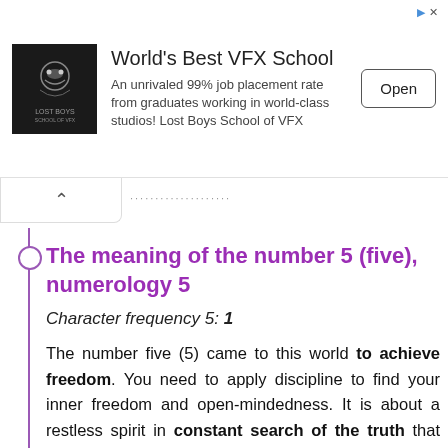[Figure (other): Advertisement banner for Lost Boys School of VFX with logo, text, and Open button]
The meaning of the number 5 (five), numerology 5
Character frequency 5: 1
The number five (5) came to this world to achieve freedom. You need to apply discipline to find your inner freedom and open-mindedness. It is about a restless spirit in constant search of the truth that surrounds us. You need to accumulate as much information as possible to know what is happening in depth. Number 5 person is intelligent, selfish, curious and with great artistic ability. It is a symbol of freedom, independence,